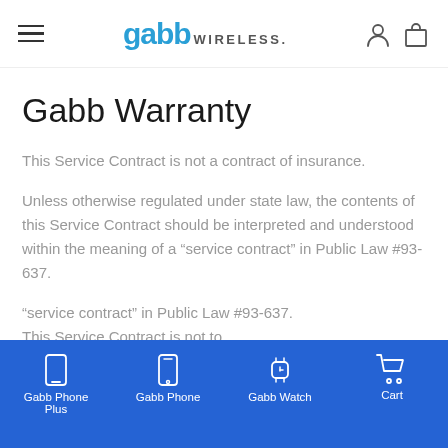gabb WIRELESS.
Gabb Warranty
This Service Contract is not a contract of insurance.
Unless otherwise regulated under state law, the contents of this Service Contract should be interpreted and understood within the meaning of a “service contract” in Public Law #93-637.
“service contract” in Public Law #93-637. This Service Contract is not to...
Gabb Phone Plus | Gabb Phone | Gabb Watch | Cart